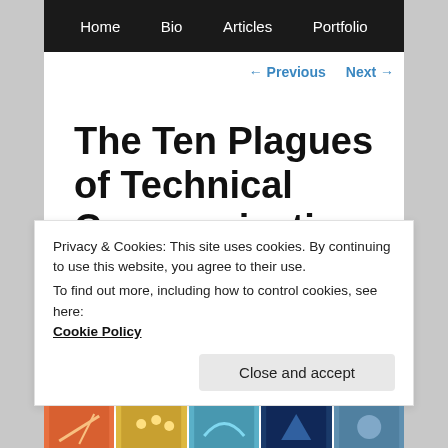Home   Bio   Articles   Portfolio
← Previous   Next →
The Ten Plagues of Technical Communication
Privacy & Cookies: This site uses cookies. By continuing to use this website, you agree to their use.
To find out more, including how to control cookies, see here:
Cookie Policy
Close and accept
[Figure (illustration): A strip of five thumbnail images at the bottom of the page showing various illustrated scenes]